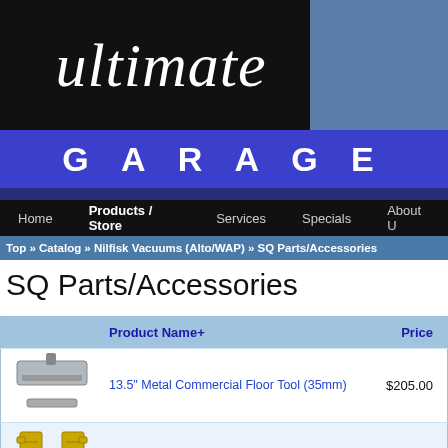[Figure (logo): Ultimate Garage logo with script 'ultimate' text on black background and 'GARAGE' text on blue bar]
Home | Products / Store | Services | Specials | About
Top » Catalog » Nilfisk Vacuums (Alto/WAP) » SQ Parts/Accessories
SQ Parts/Accessories
|  | Product Name+ | Price |
| --- | --- | --- |
| [image] | 13.5" Metal Commercial Floor Tool (35mm) | $205.00 |
| [image] | Carbon Brush Set- SQ10/15/17 & Attix 8/12/19 (Type "M" motor) | $45.00 |